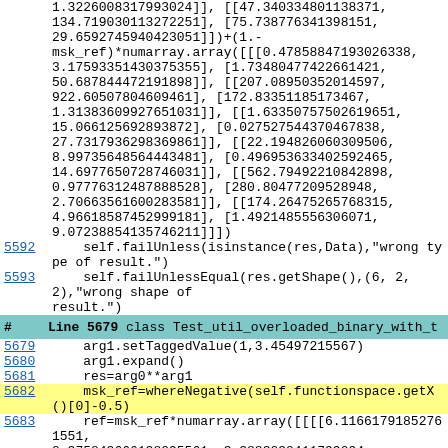1.3226008317993024]], [[47.340334801138371, 134.719030113272251], [75.738776341398151, 29.6592745940423051]])+(1.-msk_ref)*numarray.array([[[0.47858847193026338, 3.17593351430375355], [1.73480477422661421, 50.687844472191898]], [[207.08950352014597, 922.60507804609461], [172.83351185173467, 1.31383609927651031]], [[1.63350757502619651, 15.066125692893872], [0.027527544370467838, 27.7317936298369861]], [[22.194826060309506, 8.99735648564443481], [0.496953633402592465, 14.6977650728746031]], [[562.79492210842898, 0.97776312487888528], [280.80477209528948, 2.70663561600283581]], [[174.26475265768315, 4.96618587452999181], [1.4921485556306071, 9.07238854135746211]])
5592     self.failUnless(isinstance(res,Data),"wrong type of result.")
5593     self.failUnlessEqual(res.getShape(),(6, 2, 2),"wrong shape of result.")
# Line 5679  class Test_util_overloaded_binary_with_t
5679     arg1.setTaggedValue(1,3.45497215567)
5680     arg1.expand()
5681     res=arg0**arg1
5682     msk_ref=whereNegative(self.functionspace.getX()[0]-0.5)
5683     ref=msk_ref*numarray.array([[[[6.11661791852761551, 0.375843666138095561, 3.3883032411799094, 0.45148841842403031], [3.5258031639054219, 0.771406303974990441, 0.232694205205832371, 5.75513285278389831], [1.4658981484172815,